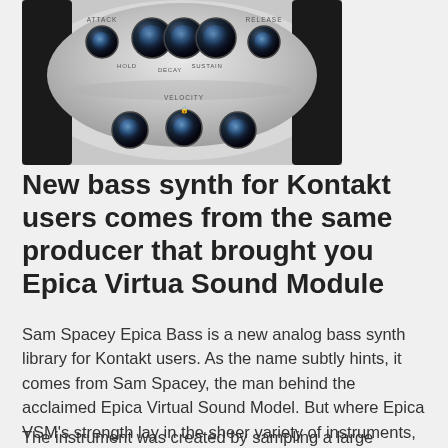[Figure (photo): A synthesizer interface panel with multiple dark, glowing blue knobs arranged in a curved, futuristic design. Labels visible include ATTACK, HOLD, DECAY, SUSTAIN, RELEASE, VELOCITY. The panel has a silver-white metallic appearance.]
New bass synth for Kontakt users comes from the same producer that brought you Epica Virtua Sound Module
Sam Spacey Epica Bass is a new analog bass synth library for Kontakt users. As the name subtly hints, it comes from Sam Spacey, the man behind the acclaimed Epica Virtual Sound Model. But where Epica VSM's strength lay in the sheer variety of instruments, this new instrument is, to coin a phrase, all about that bass.
The instrument was created by sampling a large collection of